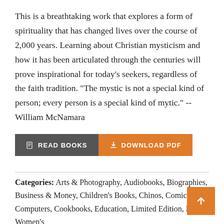This is a breathtaking work that explores a form of spirituality that has changed lives over the course of 2,000 years. Learning about Christian mysticism and how it has been articulated through the centuries will prove inspirational for today's seekers, regardless of the faith tradition. "The mystic is not a special kind of person; every person is a special kind of mytic." --William McNamara
[Figure (other): Two buttons: a dark grey 'READ BOOKS' button with a book icon, and an orange 'DOWNLOAD PDF' button with a download icon.]
Categories: Arts & Photography, Audiobooks, Biographies, Business & Money, Children's Books, Chinos, Comics, Computers, Cookbooks, Education, Limited Edition, Men's, Women's